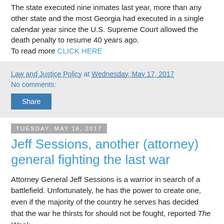The state executed nine inmates last year, more than any other state and the most Georgia had executed in a single calendar year since the U.S. Supreme Court allowed the death penalty to resume 40 years ago.
To read more CLICK HERE
Law and Justice Policy at Wednesday, May 17, 2017
No comments:
Share
Tuesday, May 16, 2017
Jeff Sessions, another (attorney) general fighting the last war
Attorney General Jeff Sessions is a warrior in search of a battlefield. Unfortunately, he has the power to create one, even if the majority of the country he serves has decided that the war he thirsts for should not be fought, reported The Week.
With a two-page memo sent last week from the AG's office to